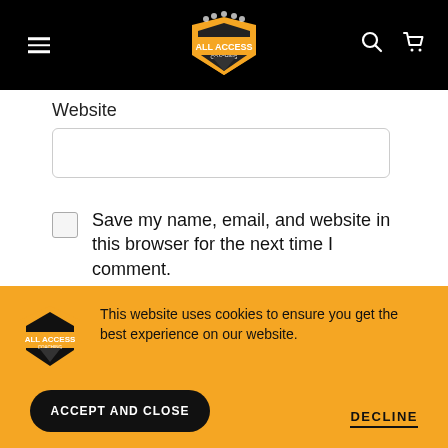All Access Coaching — navigation header with hamburger menu, logo, search and cart icons
Website
Save my name, email, and website in this browser for the next time I comment.
Publish
This website uses cookies to ensure you get the best experience on our website.
ACCEPT AND CLOSE
DECLINE